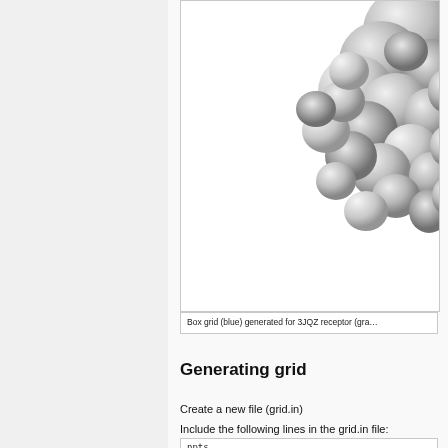[Figure (illustration): 3D molecular surface rendering of 3JQZ receptor shown in gray/silver, cropped at top-right corner of the image box. A box grid in blue would be visible in the full image.]
Box grid (blue) generated for 3JQZ receptor (gra...
Generating grid
Create a new file (grid.in)
Include the following lines in the grid.in file:
[Figure (screenshot): Code box with grid input file content (partially visible at bottom)]